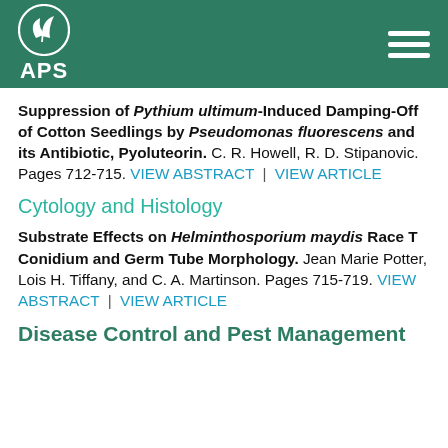[Figure (logo): APS (American Phytopathological Society) logo with plant leaves icon on dark green header bar]
Suppression of Pythium ultimum-Induced Damping-Off of Cotton Seedlings by Pseudomonas fluorescens and its Antibiotic, Pyoluteorin. C. R. Howell, R. D. Stipanovic. Pages 712-715. VIEW ABSTRACT | VIEW ARTICLE
Cytology and Histology
Substrate Effects on Helminthosporium maydis Race T Conidium and Germ Tube Morphology. Jean Marie Potter, Lois H. Tiffany, and C. A. Martinson. Pages 715-719. VIEW ABSTRACT | VIEW ARTICLE
Disease Control and Pest Management